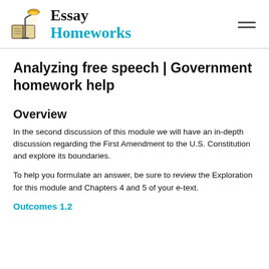Essay Homeworks
Analyzing free speech | Government homework help
Overview
In the second discussion of this module we will have an in-depth discussion regarding the First Amendment to the U.S. Constitution and explore its boundaries.
To help you formulate an answer, be sure to review the Exploration for this module and Chapters 4 and 5 of your e-text.
Outcomes 1.2